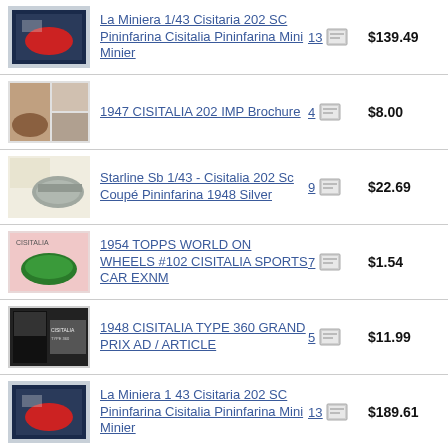La Miniera 1/43 Cisitaria 202 SC Pininfarina Cisitalia Pininfarina Mini Minier | 13 bids | $139.49
1947 CISITALIA 202 IMP Brochure | 4 bids | $8.00
Starline Sb 1/43 - Cisitalia 202 Sc Coupé Pininfarina 1948 Silver | 9 bids | $22.69
1954 TOPPS WORLD ON WHEELS #102 CISITALIA SPORTS CAR EXNM | 7 bids | $1.54
1948 CISITALIA TYPE 360 GRAND PRIX AD / ARTICLE | 5 bids | $11.99
La Miniera 1 43 Cisitaria 202 SC Pininfarina Cisitalia Pininfarina Mini Minier | 13 bids | $189.61